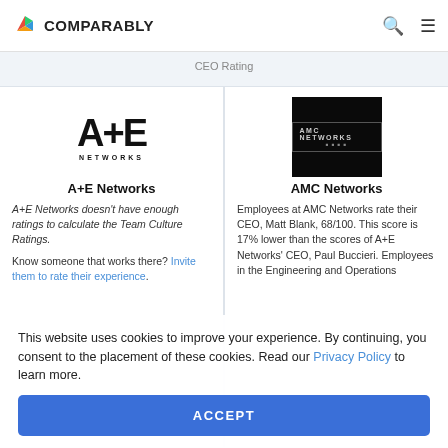COMPARABLY
CEO Rating
[Figure (logo): A+E Networks logo — stylized text 'A+E' with 'NETWORKS' below]
A+E Networks
A+E Networks doesn't have enough ratings to calculate the Team Culture Ratings.
Know someone that works there? Invite them to rate their experience.
[Figure (logo): AMC Networks logo on black background]
AMC Networks
Employees at AMC Networks rate their CEO, Matt Blank, 68/100. This score is 17% lower than the scores of A+E Networks' CEO, Paul Buccieri. Employees in the Engineering and Operations
This website uses cookies to improve your experience. By continuing, you consent to the placement of these cookies. Read our Privacy Policy to learn more.